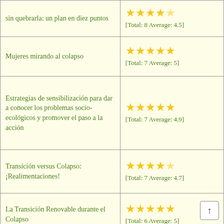| Título | Valoración |
| --- | --- |
| sin quebrarla: un plan en diez puntos | [Total: 8 Average: 4.5] |
| Mujeres mirando al colapso | [Total: 7 Average: 5] |
| Estrategias de sensibilización para dar a conocer los problemas socio-ecológicos y promover el paso a la acción | [Total: 7 Average: 4.9] |
| Transición versus Colapso: ¡Realimentaciones! | [Total: 7 Average: 4.7] |
| La Transición Renovable durante el Colapso | [Total: 6 Average: 5] |
| Saludos desde el futuro | [Total: 6 Average: 4.8] |